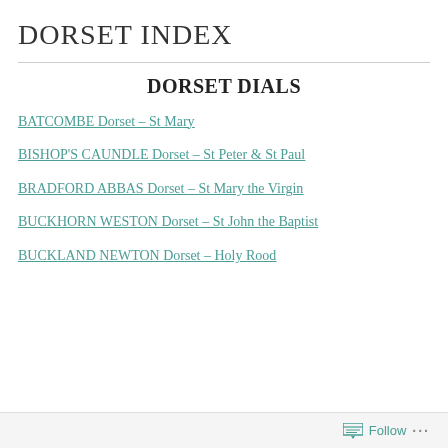DORSET INDEX
DORSET DIALS
BATCOMBE Dorset – St Mary
BISHOP'S CAUNDLE Dorset – St Peter & St Paul
BRADFORD ABBAS Dorset – St Mary the Virgin
BUCKHORN WESTON Dorset – St John the Baptist
BUCKLAND NEWTON Dorset – Holy Rood
Follow ...